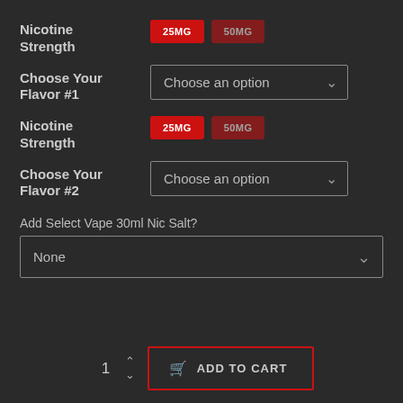Nicotine Strength
25MG  50MG (buttons)
Choose Your Flavor #1
Choose an option (dropdown)
Nicotine Strength
25MG  50MG (buttons)
Choose Your Flavor #2
Choose an option (dropdown)
Add Select Vape 30ml Nic Salt?
None (dropdown)
1
ADD TO CART